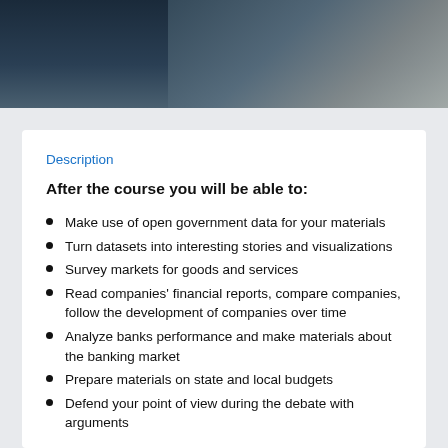[Figure (photo): Dark-toned photo strip showing people, likely students or professionals, with blue and teal tones]
Description
After the course you will be able to:
Make use of open government data for your materials
Turn datasets into interesting stories and visualizations
Survey markets for goods and services
Read companies' financial reports, compare companies, follow the development of companies over time
Analyze banks performance and make materials about the banking market
Prepare materials on state and local budgets
Defend your point of view during the debate with arguments